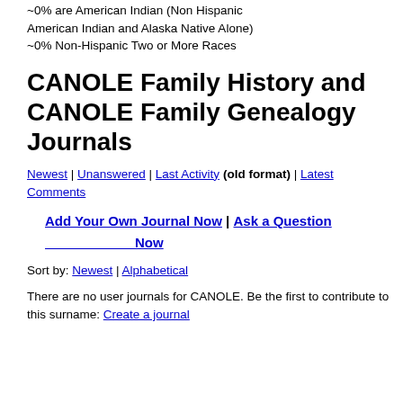~0% are American Indian (Non Hispanic American Indian and Alaska Native Alone) ~0% Non-Hispanic Two or More Races
CANOLE Family History and CANOLE Family Genealogy Journals
Newest | Unanswered | Last Activity (old format) | Latest Comments
Add Your Own Journal Now | Ask a Question Now
Sort by: Newest | Alphabetical
There are no user journals for CANOLE. Be the first to contribute to this surname: Create a journal